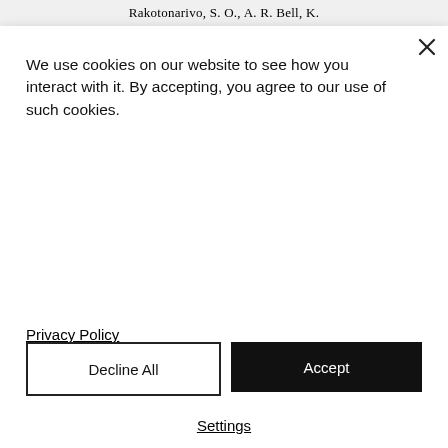Rakotonarivo, S. O., A. R. Bell, K.
We use cookies on our website to see how you interact with it. By accepting, you agree to our use of such cookies.
Privacy Policy
Decline All
Accept
Settings